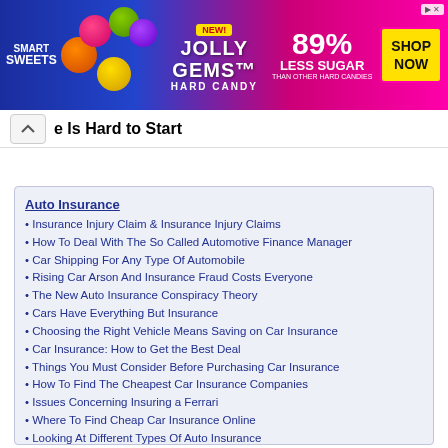[Figure (photo): Smart Sweets Jolly Gems Hard Candy advertisement banner. Blue and pink gradient background with candy images, '89% Less Sugar Than Other Hard Candies' text, 'NEW!' badge, and 'SHOP NOW' yellow button.]
e Is Hard to Start
Auto Insurance
Insurance Injury Claim & Insurance Injury Claims
How To Deal With The So Called Automotive Finance Manager
Car Shipping For Any Type Of Automobile
Rising Car Arson And Insurance Fraud Costs Everyone
The New Auto Insurance Conspiracy Theory
Cars Have Everything But Insurance
Choosing the Right Vehicle Means Saving on Car Insurance
Car Insurance: How to Get the Best Deal
Things You Must Consider Before Purchasing Car Insurance
How To Find The Cheapest Car Insurance Companies
Issues Concerning Insuring a Ferrari
Where To Find Cheap Car Insurance Online
Looking At Different Types Of Auto Insurance
New Law Says Info On Wrecked and Flooded Vehicles Be Disclosed
5 Tips To Save On Auto Insurance
Competition in the Taxi Car Insurance Sector
Discount Auto Insurance - not All Its Cracked Up to be